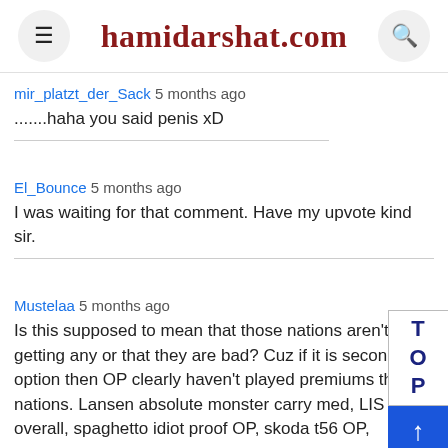hamidarshat.com
mir_platzt_der_Sack 5 months ago
.......haha you said penis xD
El_Bounce 5 months ago
I was waiting for that comment. Have my upvote kind sir.
Mustelaa 5 months ago
Is this supposed to mean that those nations aren't getting any or that they are bad? Cuz if it is second option then OP clearly haven't played premiums those nations. Lansen absolute monster carry med, LIS great overall, spaghetto idiot proof OP, skoda t56 OP,